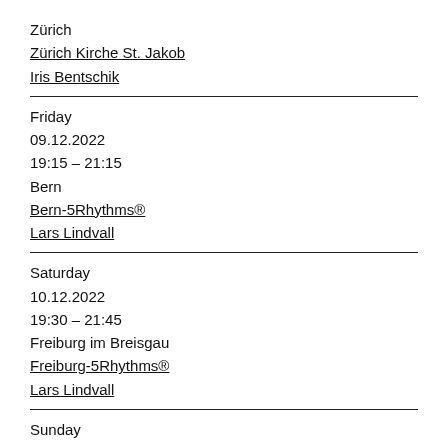Zürich
Zürich Kirche St. Jakob
Iris Bentschik
Friday
09.12.2022
19:15 – 21:15
Bern
Bern-5Rhythms®
Lars Lindvall
Saturday
10.12.2022
19:30 – 21:45
Freiburg im Breisgau
Freiburg-5Rhythms®
Lars Lindvall
Sunday